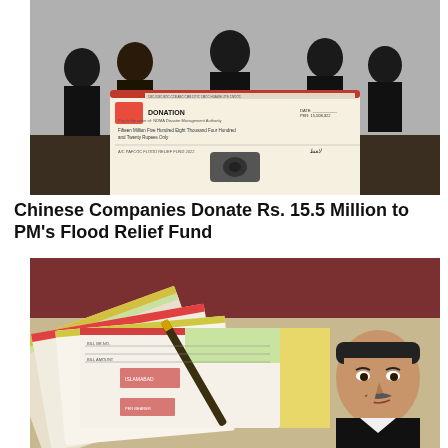[Figure (photo): Group of men in suits holding a large oversized donation cheque labeled 'DONATION' for the PAFCOC Flood Relief Fund 2022, in an indoor conference room setting.]
Chinese Companies Donate Rs. 15.5 Million to PM's Flood Relief Fund
[Figure (photo): Close-up of multiple official stamped documents/forms fanned out on a table with a pen resting on them, and a man (Shehbaz Sharif) visible in the background pointing upward.]